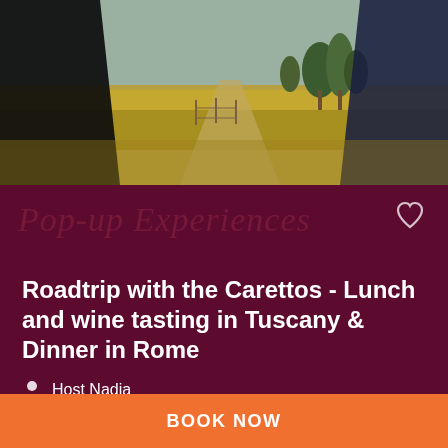[Figure (photo): Scenic Tuscan landscape photo with golden wheat fields, trees, and dark silhouettes of people in foreground]
Roadtrip with the Carettos - Lunch and wine tasting in Tuscany & Dinner in Rome
Host Nadia
$261.26 per guest
★★★★★
BOOK NOW